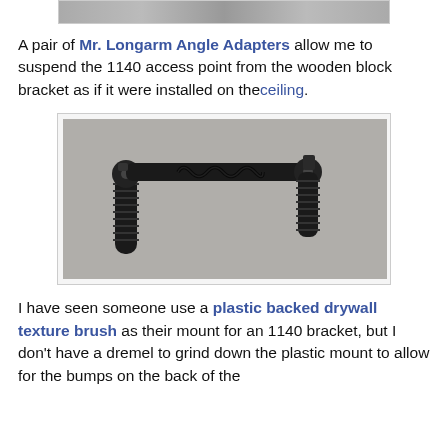[Figure (photo): Partial top view of a previous image cropped at top of page]
A pair of Mr. Longarm Angle Adapters allow me to suspend the 1140 access point from the wooden block bracket as if it were installed on theceiling.
[Figure (photo): Photo of two black Mr. Longarm Angle Adapters on a concrete surface, forming an L/U shape with a ridged handle on each end and a coiled spring section in the middle]
I have seen someone use a plastic backed drywall texture brush as their mount for an 1140 bracket, but I don't have a dremel to grind down the plastic mount to allow for the bumps on the back of the